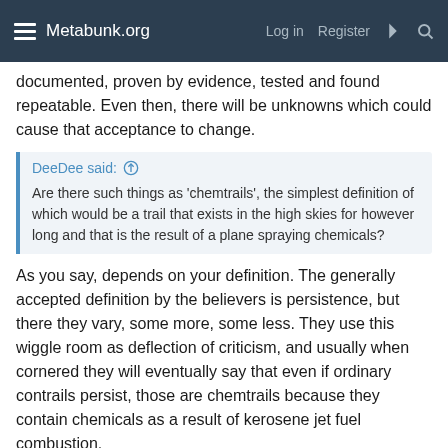Metabunk.org  Log in  Register
documented, proven by evidence, tested and found repeatable. Even then, there will be unknowns which could cause that acceptance to change.
DeeDee said: Are there such things as 'chemtrails', the simplest definition of which would be a trail that exists in the high skies for however long and that is the result of a plane spraying chemicals?
As you say, depends on your definition. The generally accepted definition by the believers is persistence, but there they vary, some more, some less. They use this wiggle room as deflection of criticism, and usually when cornered they will eventually say that even if ordinary contrails persist, those are chemtrails because they contain chemicals as a result of kerosene jet fuel combustion.
DeeDee said: